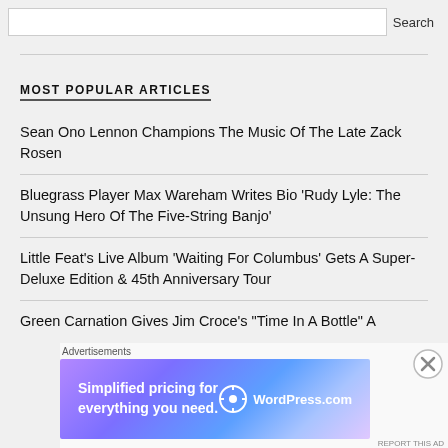MOST POPULAR ARTICLES
Sean Ono Lennon Champions The Music Of The Late Zack Rosen
Bluegrass Player Max Wareham Writes Bio 'Rudy Lyle: The Unsung Hero Of The Five-String Banjo'
Little Feat's Live Album 'Waiting For Columbus' Gets A Super-Deluxe Edition & 45th Anniversary Tour
Green Carnation Gives Jim Croce's "Time In A Bottle" A
Advertisements
[Figure (screenshot): WordPress.com advertisement banner: 'Simplified pricing for everything you need.' with WordPress.com logo on gradient purple-blue background]